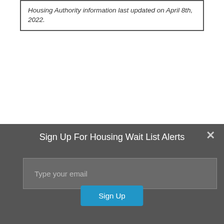Housing Authority information last updated on April 8th, 2022.
Sign Up For Housing Wait List Alerts
Type your email
Sign Up